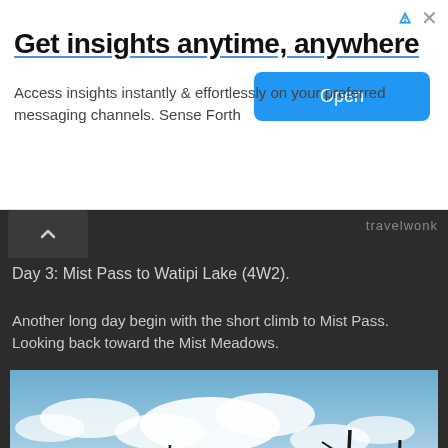Get insights anytime, anywhere
Access insights instantly & effortlessly on your preferred messaging channels. Sense Forth
Open
Day 3: Mist Pass to Watipi Lake (4W2).
Another long day begin with the short climb to Mist Pass. Looking back toward the Mist Meadows.
[Figure (photo): Mountain landscape viewed from a hillside. Dead and living trees are visible in the foreground with a broad valley and mountain ridges stretching to the horizon under a partially cloudy blue sky. Green meadow slopes dominate the middle ground.]